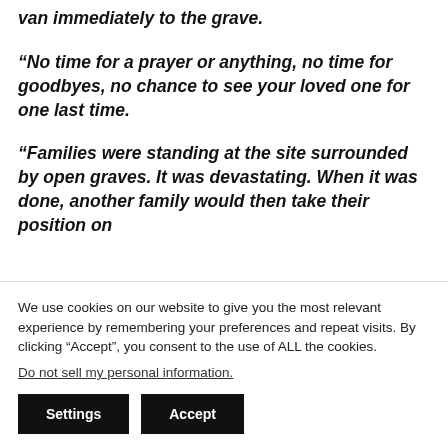van immediately to the grave.
“No time for a prayer or anything, no time for goodbyes, no chance to see your loved one for one last time.
“Families were standing at the site surrounded by open graves. It was devastating. When it was done, another family would then take their position on
We use cookies on our website to give you the most relevant experience by remembering your preferences and repeat visits. By clicking “Accept”, you consent to the use of ALL the cookies.
Do not sell my personal information.